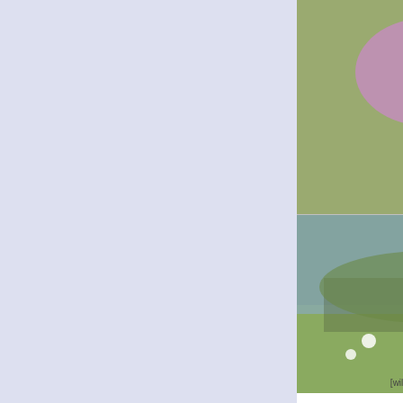[Figure (photo): Top partial entry: flower/bee photo, tags showing Docks Harbours x, sub..., Orchid x, Reclaimed Land x, top: Wild Animals Plants an..., Wildflower tag]
top: Docks, Harbours x   sub... Orchid x   Reclaimed Land x
top: Wild Animals, Plants an...
Wildflower
Wildflowers on Malvern... by Philip Halling geograph for square SO7... Wildflowers on Malvern Commo... Malvern Hills in the background... Tags: Common x  subject: F... type: Geograph x  top: Gras... Grassland x top: Wild Animals, Plants an... Wildflowers x
[Figure (photo): Photo of wildflowers on Malvern Common with hills in background]
Wildflowers, River Laga... June 2016(1) by Albert B... geograph for square J337... See J3371 : The "Slemish", Riv... Belfast (2) (November 2013) an... Annadale Embankment, Belfas... The River Lagan, between the... Tags: Annadale Embankme...